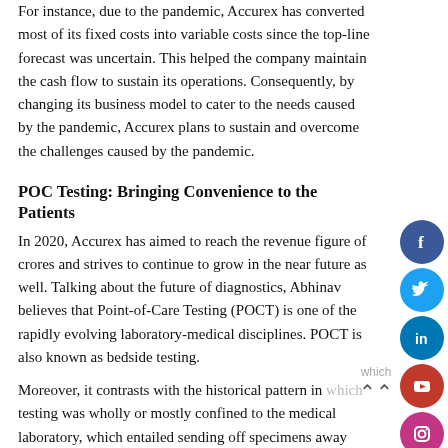For instance, due to the pandemic, Accurex has converted most of its fixed costs into variable costs since the top-line forecast was uncertain. This helped the company maintain the cash flow to sustain its operations. Consequently, by changing its business model to cater to the needs caused by the pandemic, Accurex plans to sustain and overcome the challenges caused by the pandemic.
POC Testing: Bringing Convenience to the Patients
In 2020, Accurex has aimed to reach the revenue figure of crores and strives to continue to grow in the near future as well. Talking about the future of diagnostics, Abhinav believes that Point-of-Care Testing (POCT) is one of the rapidly evolving laboratory-medical disciplines. POCT is also known as bedside testing.
Moreover, it contrasts with the historical pattern in which testing was wholly or mostly confined to the medical laboratory, which entailed sending off specimens away from
[Figure (other): Social media icon buttons on the right side: Facebook (blue circle), Twitter (light blue circle), LinkedIn (dark blue circle), YouTube (red circle), Instagram (pink/purple circle)]